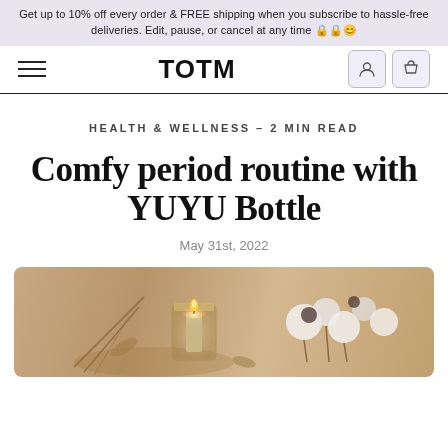Get up to 10% off every order & FREE shipping when you subscribe to hassle-free deliveries. Edit, pause, or cancel at any time 🔒🔒😊
TOTM
HEALTH & WELLNESS – 2 MIN READ
Comfy period routine with YUYU Bottle
May 31st, 2022
[Figure (photo): A cozy flatlay photo showing a lit candle in a glass jar, dried botanicals, and soft cotton-like decorative elements on a warm-toned surface.]